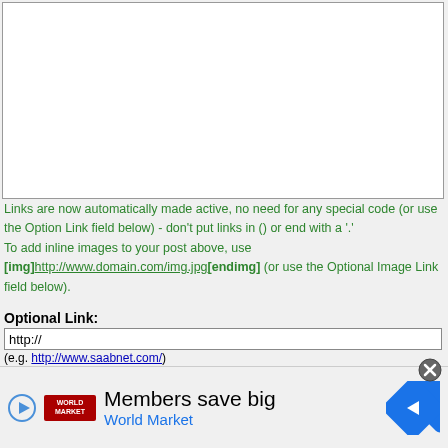[Figure (screenshot): White textarea input box for post content]
Links are now automatically made active, no need for any special code (or use the Option Link field below) - don't put links in () or end with a '.'
To add inline images to your post above, use
[img]http://www.domain.com/img.jpg[endimg] (or use the Optional Image Link field below).
Optional Link:
http://
(e.g. http://www.saabnet.com/)
Link Title:
(Optional)
[Figure (screenshot): Advertisement banner: Members save big - World Market with play button, logo and arrow icon]